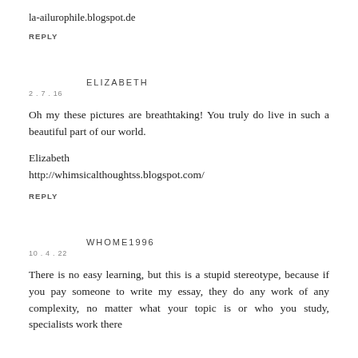la-ailurophile.blogspot.de
REPLY
ELIZABETH
2.7.16
Oh my these pictures are breathtaking! You truly do live in such a beautiful part of our world.
Elizabeth
http://whimsicalthoughtss.blogspot.com/
REPLY
WHOME1996
10.4.22
There is no easy learning, but this is a stupid stereotype, because if you pay someone to write my essay, they do any work of any complexity, no matter what your topic is or who you study, specialists work there